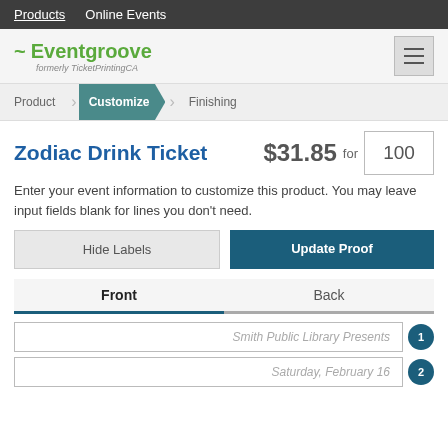Products  Online Events
[Figure (logo): Eventgroove logo with tilde symbol, formerly TicketPrintingCA]
Product  Customize  Finishing
Zodiac Drink Ticket
$31.85 for 100
Enter your event information to customize this product. You may leave input fields blank for lines you don't need.
Hide Labels
Update Proof
Front  Back
Smith Public Library Presents
Saturday, February 16